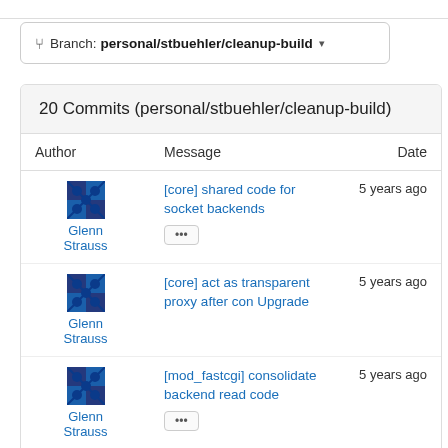Branch: personal/stbuehler/cleanup-build
| Author | Message | Date |
| --- | --- | --- |
| Glenn Strauss | [core] shared code for socket backends … | 5 years ago |
| Glenn Strauss | [core] act as transparent proxy after con Upgrade | 5 years ago |
| Glenn Strauss | [mod_fastcgi] consolidate backend read code … | 5 years ago |
| Glenn | [core] collect ioctl | 6 years ago |